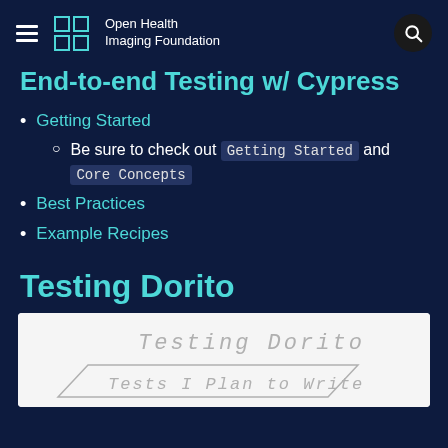Open Health Imaging Foundation
End-to-end Testing w/ Cypress
Getting Started
Be sure to check out Getting Started and Core Concepts
Best Practices
Example Recipes
Testing Dorito
[Figure (photo): Whiteboard photo showing handwritten text: Testing Dorito / Tests I Plan to Write]